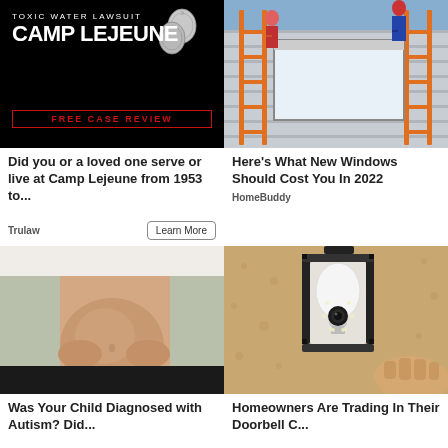[Figure (photo): Black background ad for Toxic Water Lawsuit Camp Lejeune with dog tags image and red FREE CASE REVIEW text]
Did you or a loved one serve or live at Camp Lejeune from 1953 to...
Trulaw
[Figure (photo): Photo of people on a ladder installing new windows on a house]
Here's What New Windows Should Cost You In 2022
HomeBuddy
[Figure (photo): Photo of pregnant woman holding her belly]
Was Your Child Diagnosed with Autism? Did...
[Figure (photo): Photo of a security camera light bulb installed in an outdoor lantern fixture]
Homeowners Are Trading In Their Doorbell C...